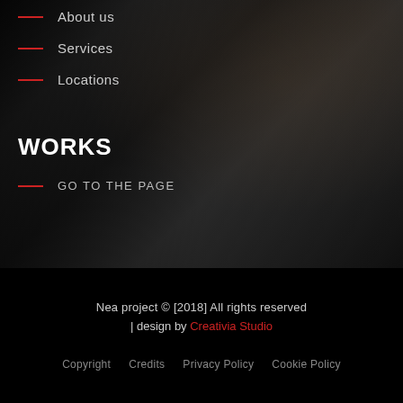About us
Services
Locations
WORKS
GO TO THE PAGE
Nea project © [2018] All rights reserved | design by Creativia Studio
Copyright   Credits   Privacy Policy   Cookie Policy